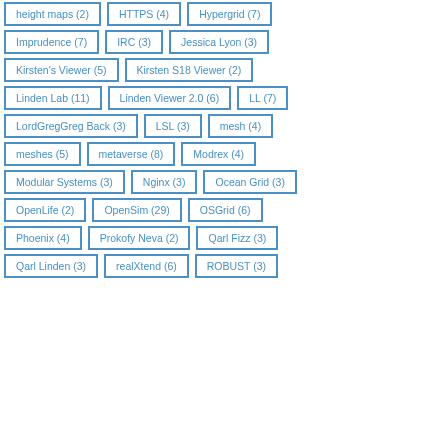height maps (2)
HTTPS (4)
Hypergrid (7)
Imprudence (7)
IRC (3)
Jessica Lyon (3)
Kirsten's Viewer (5)
Kirsten S18 Viewer (2)
Linden Lab (11)
Linden Viewer 2.0 (6)
LL (7)
LordGregGreg Back (3)
LSL (3)
mesh (4)
meshes (5)
metaverse (8)
Modrex (4)
Modular Systems (3)
Nginx (3)
Ocean Grid (3)
OpenLife (2)
OpenSim (29)
OSGrid (6)
Phoenix (4)
Prokofy Neva (2)
Qarl Fizz (3)
Qarl Linden (3)
realXtend (6)
ROBUST (3)